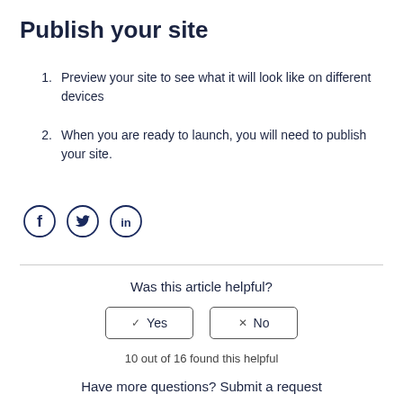Publish your site
Preview your site to see what it will look like on different devices
When you are ready to launch, you will need to publish your site.
[Figure (infographic): Social sharing icons: Facebook, Twitter, LinkedIn]
Was this article helpful?
10 out of 16 found this helpful
Have more questions? Submit a request